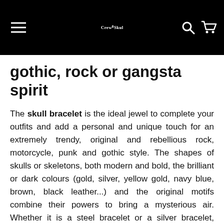Crew Skull
gothic, rock or gangsta spirit
The skull bracelet is the ideal jewel to complete your outfits and add a personal and unique touch for an extremely trendy, original and rebellious rock, motorcycle, punk and gothic style. The shapes of skulls or skeletons, both modern and bold, the brilliant or dark colours (gold, silver, yellow gold, navy blue, brown, black leather...) and the original motifs combine their powers to bring a mysterious air. Whether it is a steel bracelet or a silver bracelet, natural stone or semi-precious stone, black or rhinestone pearl with one or more skull